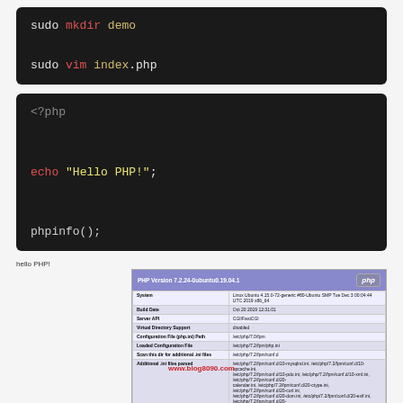[Figure (screenshot): Dark terminal code block showing: sudo mkdir demo and sudo vim index.php]
[Figure (screenshot): Dark code editor block showing PHP code: <?php  echo "Hello PHP!";  phpinfo();]
hello PHP!
[Figure (screenshot): PHP Version 7.2.24-0ubuntu0.19.04.1 phpinfo() page screenshot with www.blog8090.com watermark]
phpinfo